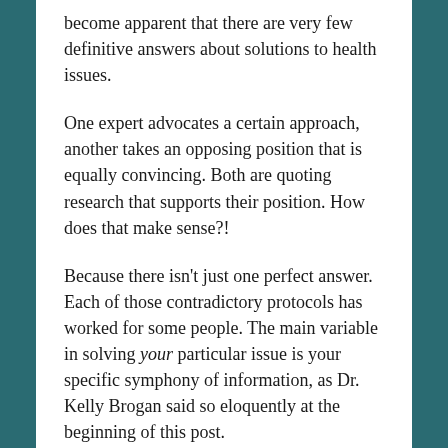become apparent that there are very few definitive answers about solutions to health issues.
One expert advocates a certain approach, another takes an opposing position that is equally convincing. Both are quoting research that supports their position. How does that make sense?!
Because there isn't just one perfect answer. Each of those contradictory protocols has worked for some people. The main variable in solving your particular issue is your specific symphony of information, as Dr. Kelly Brogan said so eloquently at the beginning of this post.